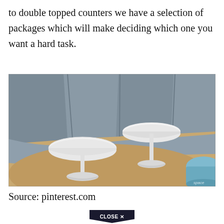to double topped counters we have a selection of packages which will make deciding which one you want a hard task.
[Figure (photo): Two white tulip-style round side tables on a hardwood floor in front of a curved grey upholstered sofa/seating. A blue ottoman is visible at the right edge. Watermark reads 'space'.]
Source: pinterest.com
CLOSE X